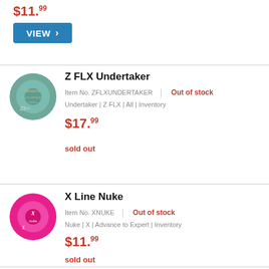$11.99
VIEW ›
Z FLX Undertaker
Item No. ZFLXUNDERTAKER | Out of stock
Undertaker | Z FLX | All | Inventory
$17.99
sold out
[Figure (photo): Green disc golf disc with logo, Z FLX Undertaker]
[Figure (photo): Pink disc golf disc with Innova logo, X Line Nuke]
X Line Nuke
Item No. XNUKE | Out of stock
Nuke | X | Advance to Expert | Inventory
$11.99
sold out